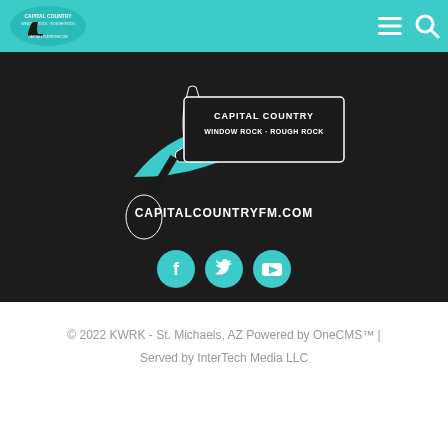[Figure (logo): Capital Country FM radio station logo in top navigation bar on teal background]
[Figure (logo): Large Capital Country FM logo with guitar illustration, text CAPITAL COUNTRY, WINDOW ROCK - ROUGH ROCK, and CAPITALCOUNTRYFM.COM on dark background]
[Figure (infographic): Three teal circular social media icons: Facebook, Twitter, YouTube]
© 2022 KWRK - St. Michaels, AZ Powered by OneCMS™ | Served by InterTech Media LLC